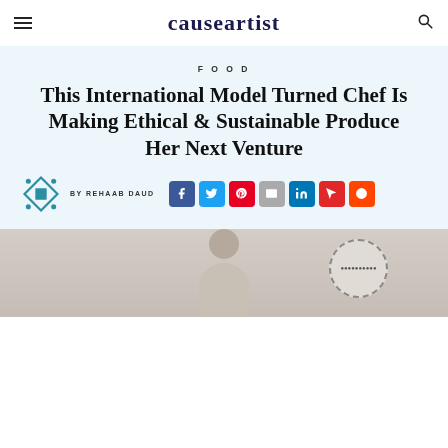causeartist
FOOD
This International Model Turned Chef Is Making Ethical & Sustainable Produce Her Next Venture
BY REHAAB DAUD
[Figure (photo): Bottom photo strip showing a person, partially visible at the bottom of the page]